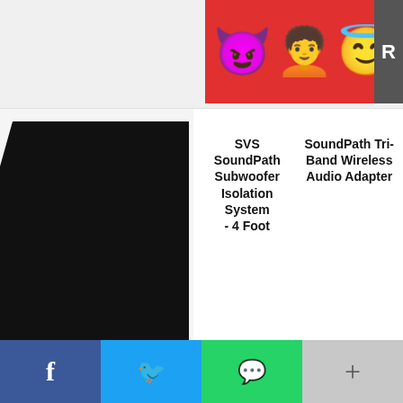[Figure (screenshot): Advertisement banner with emoji characters (devil, person, angel) on red background with partial letter R visible on right side]
[Figure (screenshot): Black product image placeholder on left; two product cards on right: 'SVS SoundPath Subwoofer Isolation System - 4 Foot' and 'SoundPath Tri-Band Wireless Audio Adapter']
When compared to other Latin American countries, Paraguay had a very minuscule number of money transactions in the last two years, according to a Useful Tulips compilation based on data from Paxful and LocalBitcoins – P2P exchanges. Its historical volume was $1,836 on September 2nd, while Venezuela's worth
[Figure (screenshot): Social share bar at bottom with Facebook (blue), Twitter (light blue), WhatsApp (green), and More (gray) buttons]